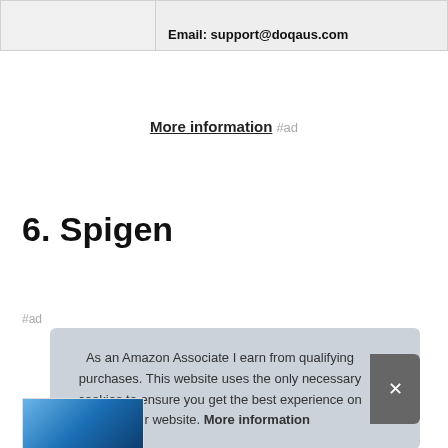|  |  |
| --- | --- |
|  | Email: support@doqaus.com |
More information #ad
6. Spigen
#ad
As an Amazon Associate I earn from qualifying purchases. This website uses the only necessary cookies to ensure you get the best experience on our website. More information